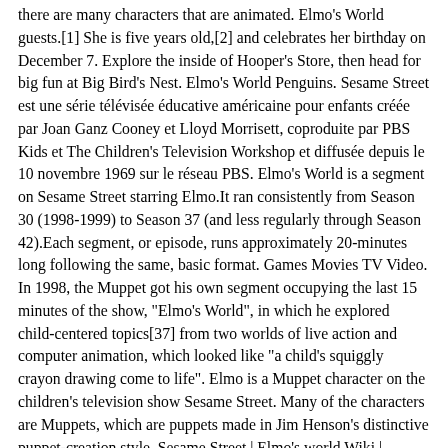there are many characters that are animated. Elmo's World guests.[1] She is five years old,[2] and celebrates her birthday on December 7. Explore the inside of Hooper's Store, then head for big fun at Big Bird's Nest. Elmo's World Penguins. Sesame Street est une série télévisée éducative américaine pour enfants créée par Joan Ganz Cooney et Lloyd Morrisett, coproduite par PBS Kids et The Children's Television Workshop et diffusée depuis le 10 novembre 1969 sur le réseau PBS. Elmo's World is a segment on Sesame Street starring Elmo.It ran consistently from Season 30 (1998-1999) to Season 37 (and less regularly through Season 42).Each segment, or episode, runs approximately 20-minutes long following the same, basic format. Games Movies TV Video. In 1998, the Muppet got his own segment occupying the last 15 minutes of the show, "Elmo's World", in which he explored child-centered topics[37] from two worlds of live action and computer animation, which looked like "a child's squiggly crayon drawing come to life". Elmo is a Muppet character on the children's television show Sesame Street. Many of the characters are Muppets, which are puppets made in Jim Henson's distinctive puppet-creation style. Sesame Street | Elmo's world Wiki | Fandom.[67], Bob's former girlfriend was Linda (Linda Bove), a librarian who communicated using American Sign Language, and who became the longest-running deaf character in television history.[56] The first character to be introduced to the show was Gordon Robinson, a "well-liked and respected" African-American